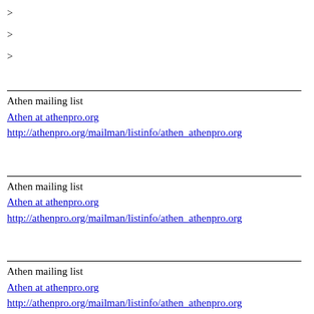>
>
>
Athen mailing list
Athen at athenpro.org
http://athenpro.org/mailman/listinfo/athen_athenpro.org
Athen mailing list
Athen at athenpro.org
http://athenpro.org/mailman/listinfo/athen_athenpro.org
Athen mailing list
Athen at athenpro.org
http://athenpro.org/mailman/listinfo/athen_athenpro.org